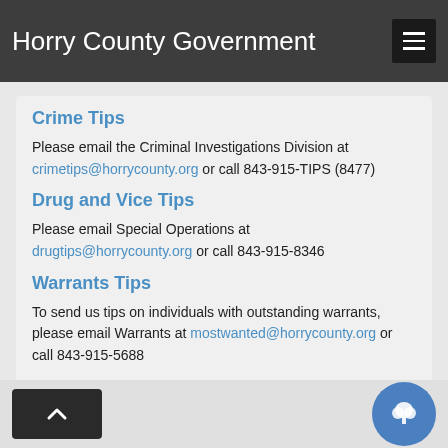Horry County Government
Crime Tips
Please email the Criminal Investigations Division at crimetips@horrycounty.org or call 843-915-TIPS (8477)
Drug and Vice Tips
Please email Special Operations at drugtips@horrycounty.org or call 843-915-8346
Warrants Tips
To send us tips on individuals with outstanding warrants, please email Warrants at mostwanted@horrycounty.org or call 843-915-5688
Non-emergency Line: 843-248-1520
Emergency Line: 9-1-1